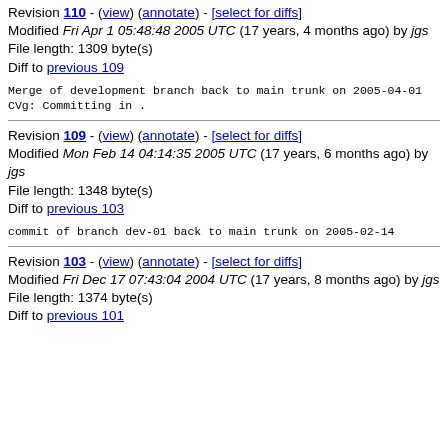Revision 110 - (view) (annotate) - [select for diffs]
Modified Fri Apr 1 05:48:48 2005 UTC (17 years, 4 months ago) by jgs
File length: 1309 byte(s)
Diff to previous 109
Merge of development branch back to main trunk on 2005-04-01
CVg: Committing in .
Revision 109 - (view) (annotate) - [select for diffs]
Modified Mon Feb 14 04:14:35 2005 UTC (17 years, 6 months ago) by jgs
File length: 1348 byte(s)
Diff to previous 103
commit of branch dev-01 back to main trunk on 2005-02-14
Revision 103 - (view) (annotate) - [select for diffs]
Modified Fri Dec 17 07:43:04 2004 UTC (17 years, 8 months ago) by jgs
File length: 1374 byte(s)
Diff to previous 101